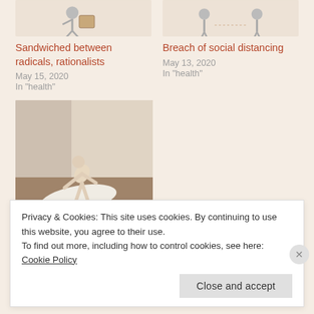[Figure (illustration): Partial top of illustration showing a person walking with a box, cropped at top of page]
[Figure (illustration): Partial top of illustration showing two figures standing apart, social distancing theme, cropped at top of page]
Sandwiched between radicals, rationalists
May 15, 2020
In "health"
Breach of social distancing
May 13, 2020
In "health"
[Figure (photo): A wooden mannequin figure bent over on a white cloth or paper on a wooden floor, in a corner of a room]
Mystery of grief-stricken hearts
July 24, 2020
Privacy & Cookies: This site uses cookies. By continuing to use this website, you agree to their use.
To find out more, including how to control cookies, see here: Cookie Policy
Close and accept